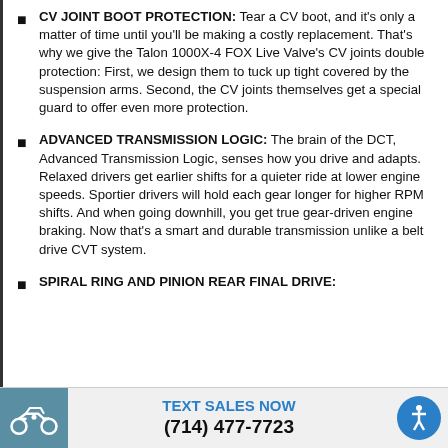CV JOINT BOOT PROTECTION: Tear a CV boot, and it's only a matter of time until you'll be making a costly replacement. That's why we give the Talon 1000X-4 FOX Live Valve's CV joints double protection: First, we design them to tuck up tight covered by the suspension arms. Second, the CV joints themselves get a special guard to offer even more protection.
ADVANCED TRANSMISSION LOGIC: The brain of the DCT, Advanced Transmission Logic, senses how you drive and adapts. Relaxed drivers get earlier shifts for a quieter ride at lower engine speeds. Sportier drivers will hold each gear longer for higher RPM shifts. And when going downhill, you get true gear-driven engine braking. Now that's a smart and durable transmission unlike a belt drive CVT system.
SPIRAL RING AND PINION REAR FINAL DRIVE:
TEXT SALES NOW (714) 477-7723